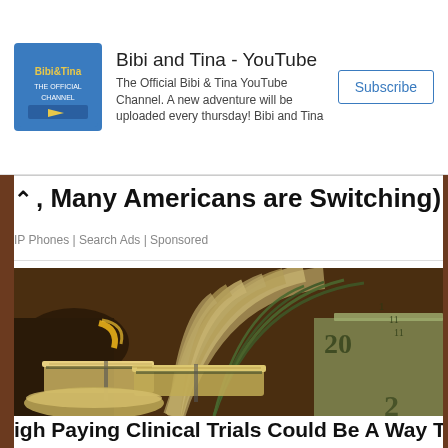[Figure (screenshot): YouTube channel advertisement banner for Bibi and Tina with logo, description text, and Subscribe button]
Many Americans are Switching)
IP Phones | Search Ads | Sponsored
[Figure (photo): Photo of large stacks of US dollar bills fanned out with a gold chain bracelet visible]
igh Paying Clinical Trials Could Be A Way T